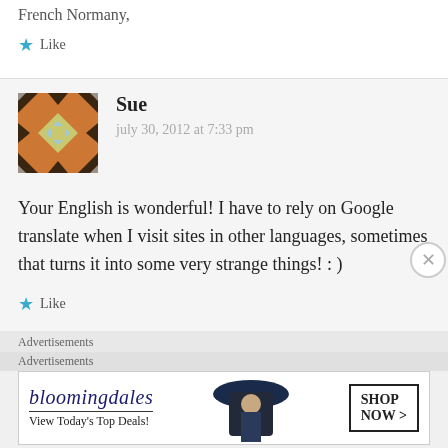French Normany,
Like
[Figure (illustration): Decorative avatar with orange, dark brown, light blue, and yellow-green geometric quilt-like pattern]
Sue
july 30, 2012 at 7:33 pm
Your English is wonderful! I have to rely on Google translate when I visit sites in other languages, sometimes that turns it into some very strange things! : )
Like
Advertisements
Advertisements
[Figure (screenshot): Bloomingdales advertisement banner: bloomingdales logo with 'View Today's Top Deals!' text and 'SHOP NOW >' button, with image of woman in wide-brim hat]